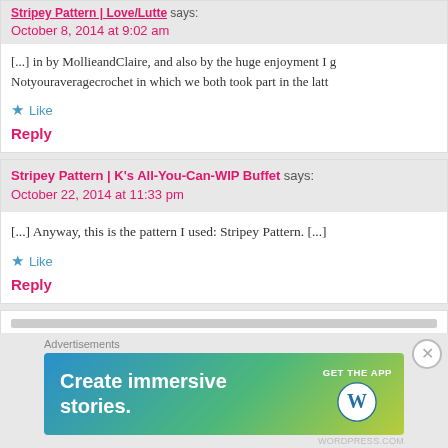October 8, 2014 at 9:02 am
[...] in by MollieandClaire, and also by the huge enjoyment I g Notyouraveragecrochet in which we both took part in the latt
★ Like
Reply
Stripey Pattern | K's All-You-Can-WIP Buffet says:
October 22, 2014 at 11:33 pm
[...] Anyway, this is the pattern I used:  Stripey Pattern. [...]
★ Like
Reply
[Figure (screenshot): Advertisement banner: 'Create immersive stories. GET THE APP' with WordPress logo, on blue-green gradient background]